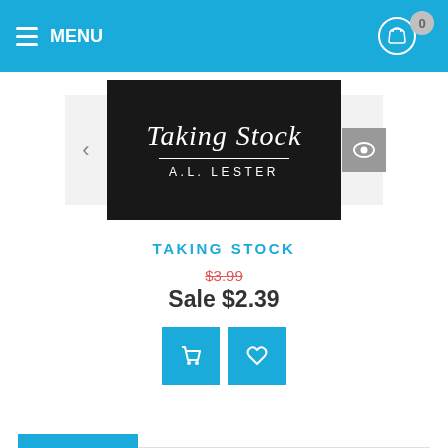MENU
[Figure (photo): Book cover for 'Taking Stock' by A.L. Lester, dark background with cursive title text and decorative divider line]
TAKING STOCK
$3.99 (strikethrough original price)
Sale $2.39
AUTHORS
Please Select